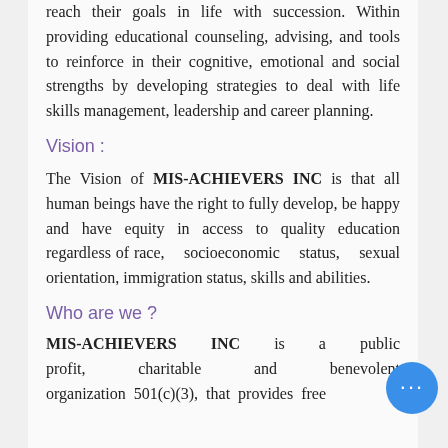reach their goals in life with succession. Within providing educational counseling, advising, and tools to reinforce in their cognitive, emotional and social strengths by developing strategies to deal with life skills management, leadership and career planning.
Vision :
The Vision of MIS-ACHIEVERS INC is that all human beings have the right to fully develop, be happy and have equity in access to quality education regardless of race, socioeconomic status, sexual orientation, immigration status, skills and abilities.
Who are we ?
MIS-ACHIEVERS INC is a public profit, charitable and benevolent organization 501(c)(3), that provides free